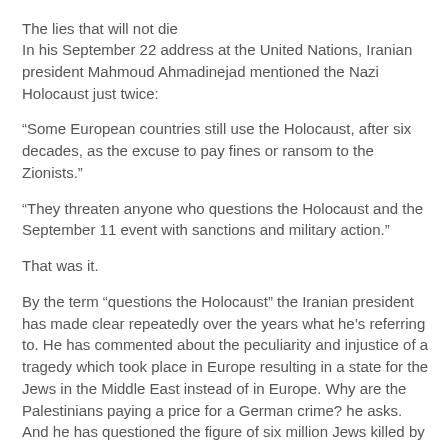The lies that will not die
In his September 22 address at the United Nations, Iranian president Mahmoud Ahmadinejad mentioned the Nazi Holocaust just twice:
“Some European countries still use the Holocaust, after six decades, as the excuse to pay fines or ransom to the Zionists.”
“They threaten anyone who questions the Holocaust and the September 11 event with sanctions and military action.”
That was it.
By the term “questions the Holocaust” the Iranian president has made clear repeatedly over the years what he’s referring to. He has commented about the peculiarity and injustice of a tragedy which took place in Europe resulting in a state for the Jews in the Middle East instead of in Europe. Why are the Palestinians paying a price for a German crime? he asks. And he has questioned the figure of six million Jews killed by